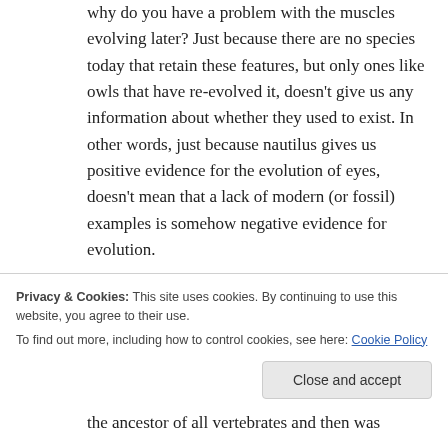why do you have a problem with the muscles evolving later? Just because there are no species today that retain these features, but only ones like owls that have re-evolved it, doesn't give us any information about whether they used to exist. In other words, just because nautilus gives us positive evidence for the evolution of eyes, doesn't mean that a lack of modern (or fossil) examples is somehow negative evidence for evolution.
Privacy & Cookies: This site uses cookies. By continuing to use this website, you agree to their use. To find out more, including how to control cookies, see here: Cookie Policy
the ancestor of all vertebrates and then was